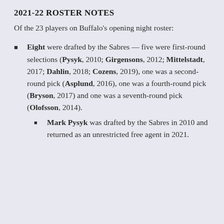2021-22 ROSTER NOTES
Of the 23 players on Buffalo's opening night roster:
Eight were drafted by the Sabres — five were first-round selections (Pysyk, 2010; Girgensons, 2012; Mittelstadt, 2017; Dahlin, 2018; Cozens, 2019), one was a second-round pick (Asplund, 2016), one was a fourth-round pick (Bryson, 2017) and one was a seventh-round pick (Olofsson, 2014).
Mark Pysyk was drafted by the Sabres in 2010 and returned as an unrestricted free agent in 2021.